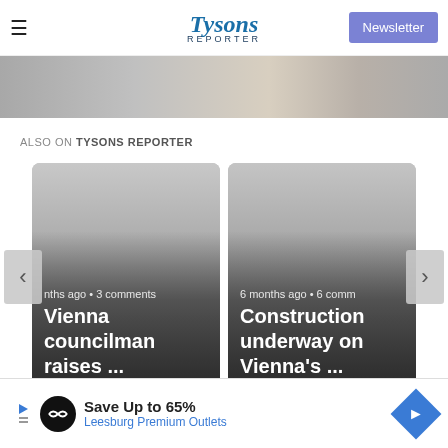Tysons Reporter — Newsletter
[Figure (photo): Top portion of a person wearing a houndstooth pattern jacket, partially cropped]
ALSO ON TYSONS REPORTER
[Figure (screenshot): Two article preview cards side by side. Left card: 'nths ago • 3 comments / Vienna councilman raises ...'. Right card: '6 months ago • 6 comm... / Construction underway on Vienna's ...'. Navigation arrows on left and right.]
[Figure (infographic): Advertisement banner: Save Up to 65% Leesburg Premium Outlets]